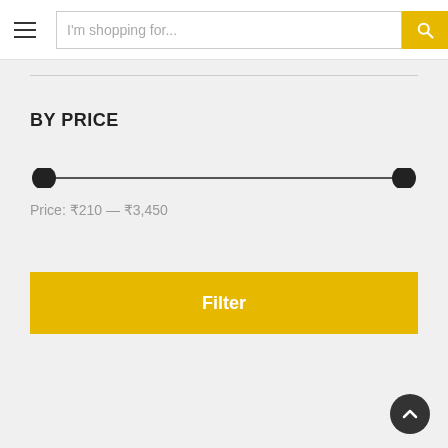[Figure (screenshot): Navigation header with hamburger menu icon, search input placeholder 'I'm shopping for...', and yellow search button with magnifying glass icon]
BY PRICE
[Figure (other): Price range slider with two handles at minimum and maximum positions]
Price: ₹210 — ₹3,450
[Figure (other): Yellow Filter button]
[Figure (other): Dark circular back-to-top arrow button at bottom right]